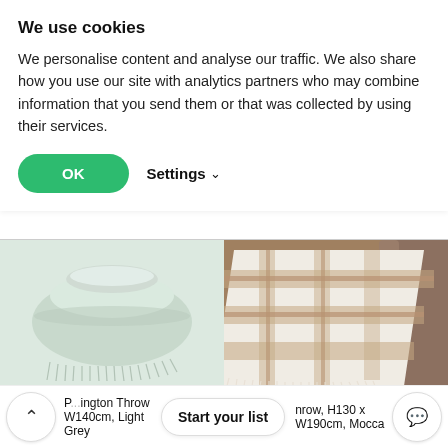We use cookies
We personalise content and analyse our traffic. We also share how you use our site with analytics partners who may combine information that you send them or that was collected by using their services.
OK   Settings ∨
[Figure (photo): Light grey folded throw blanket with fringe on white background]
[Figure (photo): White and beige checked throw blanket draped over a brown sofa]
P...ington Throw W140cm, Light Grey
Start your list
...nrow, H130 x W190cm, Mocca